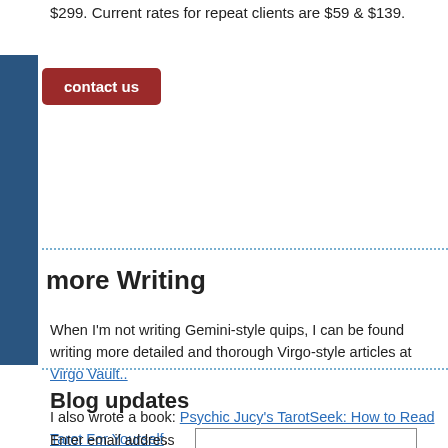$299. Current rates for repeat clients are $59 & $139.
[Figure (other): Blue vertical 'contact me' sidebar tab with a dark red 'contact us' button]
more Writing
When I'm not writing Gemini-style quips, I can be found writing more detailed and thorough Virgo-style articles at Virgo Vault.. I also wrote a book: Psychic Jucy's TarotSeek: How to Read Tarot For Yourself.
Blog updates
Enter email address